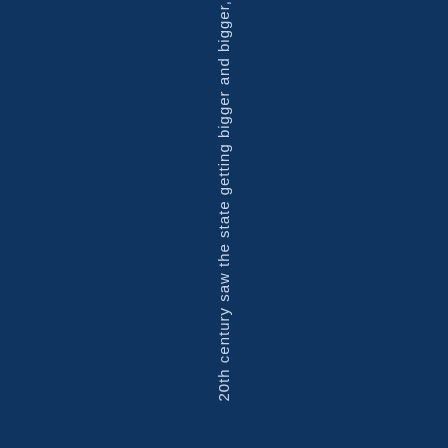20th century saw the state getting bigger and bigger,